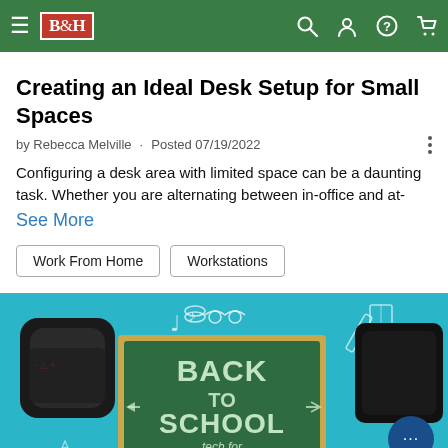B&H Photo Video navigation bar
Creating an Ideal Desk Setup for Small Spaces
by Rebecca Melville · Posted 07/19/2022
Configuring a desk area with limited space can be a daunting task. Whether you are alternating between in-office and at-
See More
Work From Home
Workstations
[Figure (photo): Back to School tech for students promotional banner with a chalkboard sign reading BACK TO SCHOOL tech for students, surrounded by a Bluetooth speaker, headphones/hard drive, and school-themed doodles on a teal background]